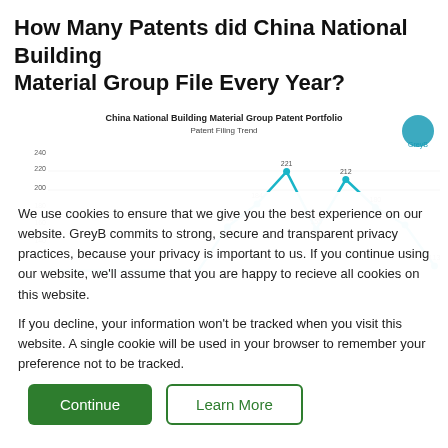How Many Patents did China National Building Material Group File Every Year?
[Figure (line-chart): China National Building Material Group Patent Portfolio]
We use cookies to ensure that we give you the best experience on our website. GreyB commits to strong, secure and transparent privacy practices, because your privacy is important to us. If you continue using our website, we'll assume that you are happy to recieve all cookies on this website.
If you decline, your information won't be tracked when you visit this website. A single cookie will be used in your browser to remember your preference not to be tracked.